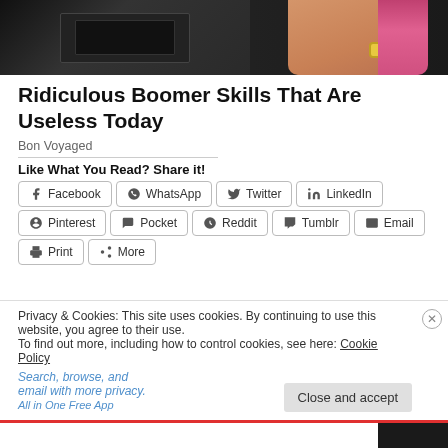[Figure (photo): Photo of a person in a pink top packing or unpacking a suitcase, with a watch visible on their wrist]
Ridiculous Boomer Skills That Are Useless Today
Bon Voyaged
Like What You Read? Share it!
Facebook  WhatsApp  Twitter  LinkedIn  Pinterest  Pocket  Reddit  Tumblr  Email  Print  More
Privacy & Cookies: This site uses cookies. By continuing to use this website, you agree to their use. To find out more, including how to control cookies, see here: Cookie Policy
Close and accept